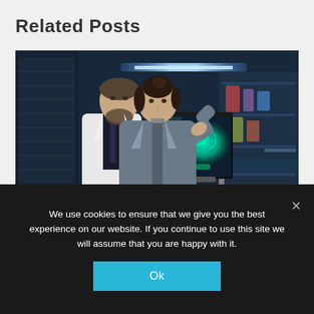Related Posts
[Figure (photo): Two researchers in white lab coats in a blue-lit laboratory. A woman in a gray jacket is touching a monitor displaying a green glowing brain scan image mounted on a metal arm. A man with a beard stands behind her.]
We use cookies to ensure that we give you the best experience on our website. If you continue to use this site we will assume that you are happy with it.